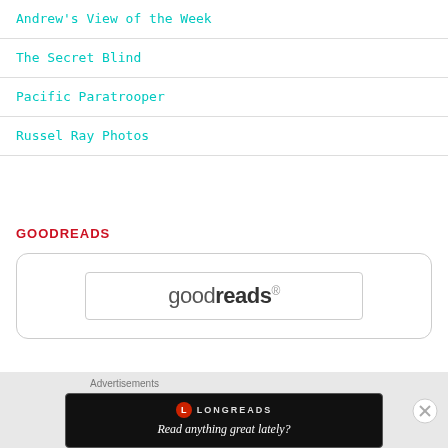Andrew's View of the Week
The Secret Blind
Pacific Paratrooper
Russel Ray Photos
GOODREADS
[Figure (logo): Goodreads logo in a rounded-rectangle widget box]
Advertisements
[Figure (screenshot): Longreads advertisement banner: Read anything great lately?]